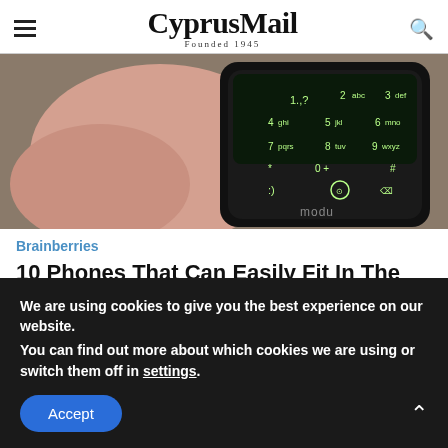CyprusMail — Founded 1945
[Figure (photo): Close-up of a hand holding a small Modu phone, showing numeric keypad with keys 1-9, 0, *, #]
Brainberries
10 Phones That Can Easily Fit In The Smallest Pocket
[Figure (photo): Partial image of another article, green/yellow tones]
We are using cookies to give you the best experience on our website.
You can find out more about which cookies we are using or switch them off in settings.